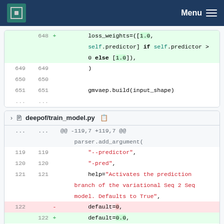MPCDF Menu
[Figure (screenshot): Code diff showing lines 648-651 with addition of loss_weights parameter]
[Figure (screenshot): Code diff for deepof/train_model.py showing lines 119-123 with changes to default parameter from 0 to 0.0]